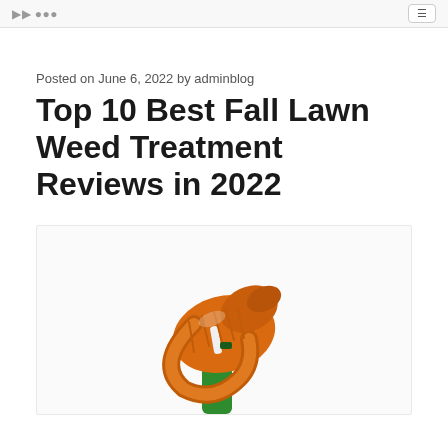adminblog
Posted on June 6, 2022 by adminblog
Top 10 Best Fall Lawn Weed Treatment Reviews in 2022
[Figure (photo): Orange and green garden spray nozzle / hose attachment photographed from above, showing the trigger mechanism and green handle base]